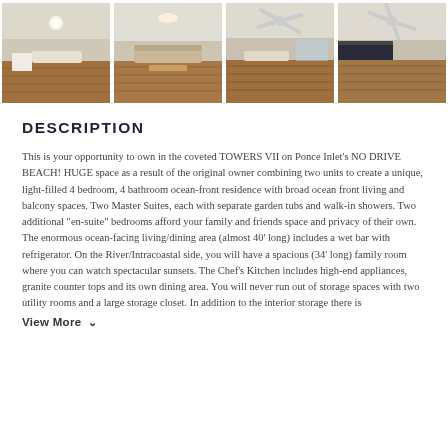[Figure (photo): Strip of four interior room thumbnail photos showing living areas with hardwood floors and white ceilings, plus a right-arrow navigation button]
DESCRIPTION
This is your opportunity to own in the coveted TOWERS VII on Ponce Inlet's NO DRIVE BEACH! HUGE space as a result of the original owner combining two units to create a unique, light-filled 4 bedroom, 4 bathroom ocean-front residence with broad ocean front living and balcony spaces. Two Master Suites, each with separate garden tubs and walk-in showers. Two additional "en-suite" bedrooms afford your family and friends space and privacy of their own. The enormous ocean-facing living/dining area (almost 40' long) includes a wet bar with refrigerator. On the River/Intracoastal side, you will have a spacious (34' long) family room where you can watch spectacular sunsets. The Chef's Kitchen includes high-end appliances, granite counter tops and its own dining area. You will never run out of storage spaces with two utility rooms and a large storage closet. In addition to the interior storage there is
View More ˅